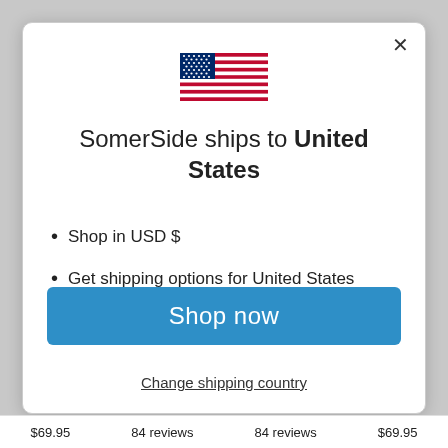[Figure (illustration): US flag icon centered at top of modal dialog]
SomerSide ships to United States
Shop in USD $
Get shipping options for United States
Shop now
Change shipping country
$69.95    84 reviews    84 reviews    $69.95